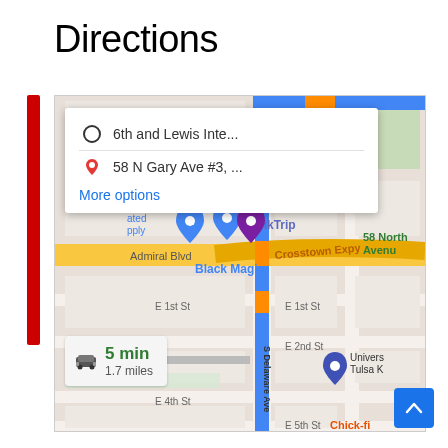Directions
[Figure (map): Google Maps screenshot showing directions from 6th and Lewis Intersection to 58 N Gary Ave #3, Tulsa, OK. Map shows S Delaware Ave highlighted in blue as the route, with Crosstown Expy (yellow), Admiral Blvd, E 1st St, E 2nd St, E 4th St, E 5th St visible. Businesses marked include QuikTrip, Black Magic, University of Tulsa (K). A directions popup shows origin '6th and Lewis Inte...' and destination '58 N Gary Ave #3, ...' with a 'More options' link. A drive info box shows '5 min' and '1.7 miles'. A blue scroll-to-top button is in the bottom right.]